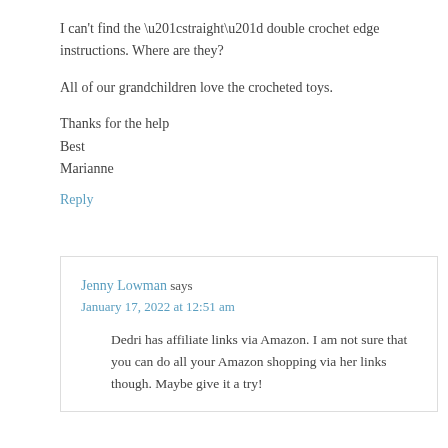I can't find the “straight” double crochet edge instructions. Where are they?
All of our grandchildren love the crocheted toys.
Thanks for the help
Best
Marianne
Reply
Jenny Lowman says
January 17, 2022 at 12:51 am
Dedri has affiliate links via Amazon. I am not sure that you can do all your Amazon shopping via her links though. Maybe give it a try!